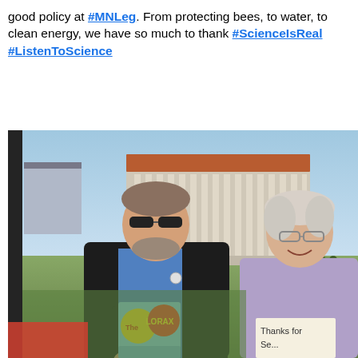good policy at #MNLeg. From protecting bees, to water, to clean energy, we have so much to thank #ScienceIsReal #ListenToScience
[Figure (photo): Two people standing outdoors in front of a large neoclassical building with columns and a red roof. The man on the left wears a black jacket and blue shirt, holding a copy of 'The Lorax' book. The woman on the right wears a lavender shirt and holds a sign that partially reads 'Thanks for'. There is a crowd visible in the background on a sunny day.]